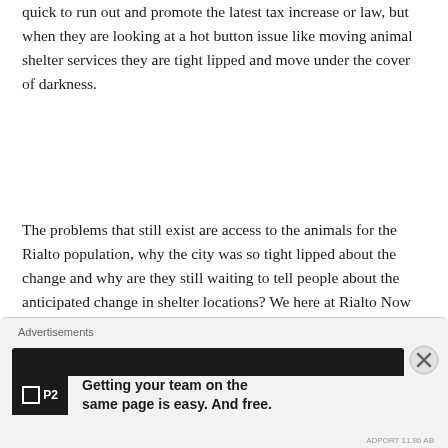quick to run out and promote the latest tax increase or law, but when they are looking at a hot button issue like moving animal shelter services they are tight lipped and move under the cover of darkness.
The problems that still exist are access to the animals for the Rialto population, why the city was so tight lipped about the change and why are they still waiting to tell people about the anticipated change in shelter locations? We here at Rialto Now feel confident that we have spurred the right people into moving with the information sooner rather than later.
[Figure (screenshot): Advertisement banner showing a dark header bar with a close button (X), and below it an ad for P2 with logo and text 'Getting your team on the same page is easy. And free.' with Advertisements label above.]